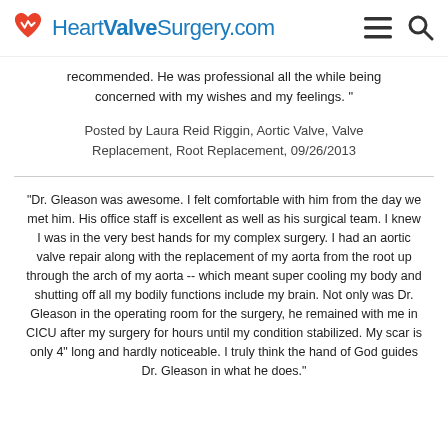HeartValveSurgery.com
recommended. He was professional all the while being concerned with my wishes and my feelings. "
Posted by Laura Reid Riggin, Aortic Valve, Valve Replacement, Root Replacement, 09/26/2013
"Dr. Gleason was awesome. I felt comfortable with him from the day we met him. His office staff is excellent as well as his surgical team. I knew I was in the very best hands for my complex surgery. I had an aortic valve repair along with the replacement of my aorta from the root up through the arch of my aorta -- which meant super cooling my body and shutting off all my bodily functions include my brain. Not only was Dr. Gleason in the operating room for the surgery, he remained with me in CICU after my surgery for hours until my condition stabilized. My scar is only 4" long and hardly noticeable. I truly think the hand of God guides Dr. Gleason in what he does."